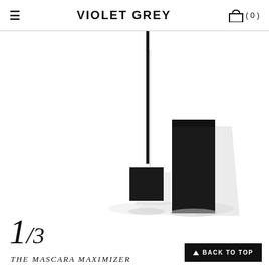VIOLET GREY  ( 0 )
[Figure (photo): Black mascara product with wand/applicator and tube packaging on white background]
1/3
THE MASCARA MAXIMIZER
BACK TO TOP